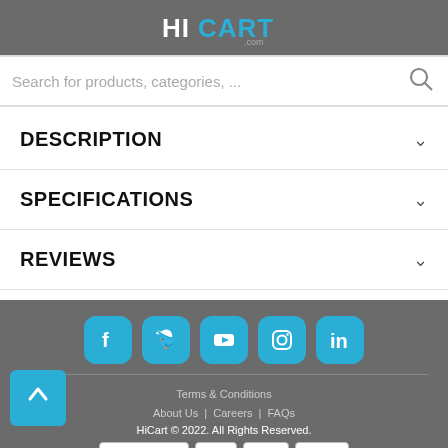[Figure (logo): HiCart.com logo in white and cyan on dark grey background]
Search for products, categories, ...
DESCRIPTION
SPECIFICATIONS
REVIEWS
[Figure (infographic): Social media icons: Facebook, Twitter, YouTube, Instagram, LinkedIn in teal rounded squares]
Terms & Conditions
About Us  |  Careers  |  FAQs
HiCart © 2022. All Rights Reserved.
[Figure (infographic): Payment badges: powered by areeba, Mastercard, VISA, American Express]